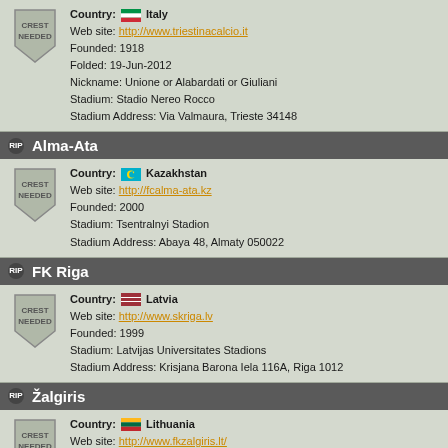Country: Italy | Web site: http://www.triestinacalcio.it | Founded: 1918 | Folded: 19-Jun-2012 | Nickname: Unione or Alabardati or Giuliani | Stadium: Stadio Nereo Rocco | Stadium Address: Via Valmaura, Trieste 34148
Alma-Ata
Country: Kazakhstan | Web site: http://fcalma-ata.kz | Founded: 2000 | Stadium: Tsentralnyi Stadion | Stadium Address: Abaya 48, Almaty 050022
FK Riga
Country: Latvia | Web site: http://www.skriga.lv | Founded: 1999 | Stadium: Latvijas Universitates Stadions | Stadium Address: Krisjana Barona Iela 116A, Riga 1012
Žalgiris
Country: Lithuania | Web site: http://www.fkzalgiris.lt/ | Founded: 1947 | Stadium: Žalgirio Stadionas | Stadium Address: Rinktinės g. 3, Vilnius 09201
Bashkimi
Country: Macedonia